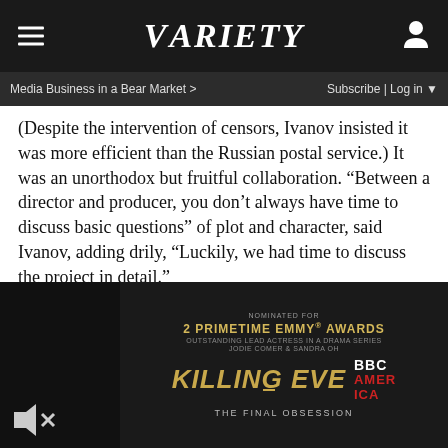VARIETY
Media Business in a Bear Market >  Subscribe | Log in
(Despite the intervention of censors, Ivanov insisted it was more efficient than the Russian postal service.) It was an unorthodox but fruitful collaboration. “Between a director and producer, you don’t always have time to discuss basic questions” of plot and character, said Ivanov, adding drily, “Luckily, we had time to discuss the project in detail.”
The contract for “Shining World” was signed within a month of Sentsov’s release, but the director already had two other feature films in the pipeline. “Rhino,” a crime drama which follows its eponymous protagonist as he works his way up t
[Figure (screenshot): Advertisement for Killing Eve on BBC America, showing dark background with gold text. Nominated for 2 Primetime Emmy Awards. Killing Eve BBC America. The Final Obsession.]